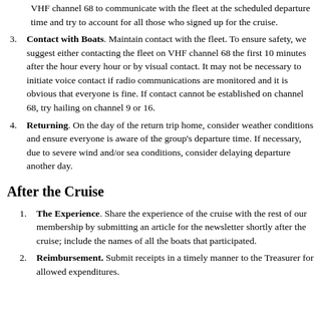VHF channel 68 to communicate with the fleet at the scheduled departure time and try to account for all those who signed up for the cruise.
Contact with Boats. Maintain contact with the fleet. To ensure safety, we suggest either contacting the fleet on VHF channel 68 the first 10 minutes after the hour every hour or by visual contact. It may not be necessary to initiate voice contact if radio communications are monitored and it is obvious that everyone is fine. If contact cannot be established on channel 68, try hailing on channel 9 or 16.
Returning. On the day of the return trip home, consider weather conditions and ensure everyone is aware of the group's departure time. If necessary, due to severe wind and/or sea conditions, consider delaying departure another day.
After the Cruise
The Experience. Share the experience of the cruise with the rest of our membership by submitting an article for the newsletter shortly after the cruise; include the names of all the boats that participated.
Reimbursement. Submit receipts in a timely manner to the Treasurer for allowed expenditures.